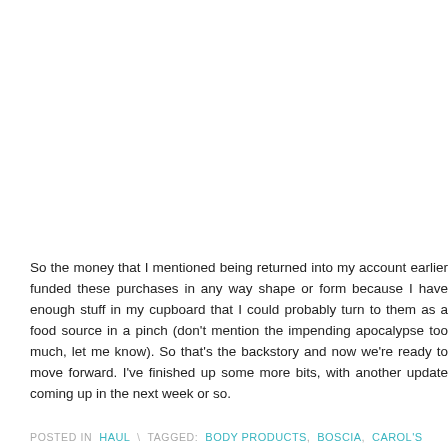So the money that I mentioned being returned into my account earlier funded these purchases in any way shape or form because I have enough stuff in my cupboard that I could probably turn to them as a food source in a pinch (don't mention the impending apocalypse too much, let me know). So that's the backstory and now we're ready to move forward. I've finished up some more bits, with another update coming up in the next week or so.
POSTED IN HAUL \ TAGGED: BODY PRODUCTS, BOSCIA, CAROL'S DAUGHTER, DERMALOGICA, GLOI, MAKEUP, SEPHORA, SKIN CARE, STILA, STRAWBERRYNET